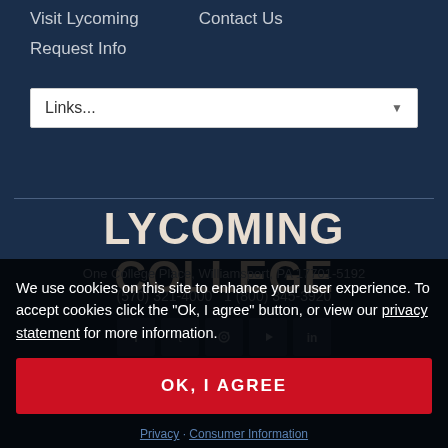Visit Lycoming
Contact Us
Request Info
Links...
LYCOMING COLLEGE
One College Place, Williamsport, PA 17701-5192
(570) 321-4000  1 (800) 345-3920
[Figure (illustration): Social media icons row: Facebook, Twitter, Instagram, YouTube, LinkedIn]
We use cookies on this site to enhance your user experience. To accept cookies click the "Ok, I agree" button, or view our privacy statement for more information.
OK, I AGREE
Privacy · Consumer Information